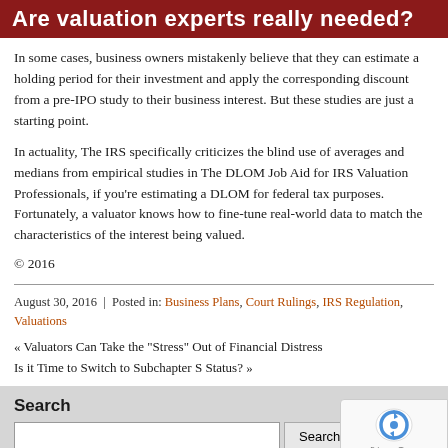Are valuation experts really needed?
In some cases, business owners mistakenly believe that they can estimate a holding period for their investment and apply the corresponding discount from a pre-IPO study to their business interest. But these studies are just a starting point.
In actuality, The IRS specifically criticizes the blind use of averages and medians from empirical studies in The DLOM Job Aid for IRS Valuation Professionals, if you’re estimating a DLOM for federal tax purposes. Fortunately, a valuator knows how to fine-tune real-world data to match the characteristics of the interest being valued.
© 2016
August 30, 2016 | Posted in: Business Plans, Court Rulings, IRS Regulation, Valuations
« Valuators Can Take the “Stress” Out of Financial Distress
Is it Time to Switch to Subchapter S Status? »
Search